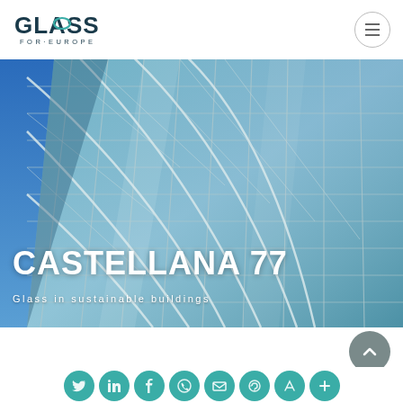[Figure (logo): Glass for Europe logo — teal/dark text reading GLASS FOR EUROPE]
[Figure (photo): Close-up upward-angle photo of Castellana 77 glass skyscraper facade against blue sky, with curved glass panels creating diamond/grid pattern]
CASTELLANA 77
Glass in sustainable buildings
[Figure (other): Row of teal circular social media icons partially visible at bottom: Twitter, LinkedIn, Facebook, WhatsApp, Email, and others]